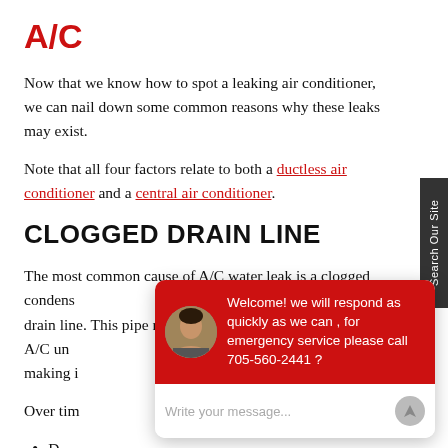A/C
Now that we know how to spot a leaking air conditioner, we can nail down some common reasons why these leaks may exist.
Note that all four factors relate to both a ductless air conditioner and a central air conditioner.
CLOGGED DRAIN LINE
The most common cause of A/C water leak is a clogged condensate drain line. This pipe removes condensate water from your A/C unit, making it...
Over time...
D
D
Algae
[Figure (screenshot): Chat widget overlay with red header showing avatar and welcome message: 'Welcome! we will respond as quickly as we can , for emergency service please call 705-560-2441 ?' and a message input field below.]